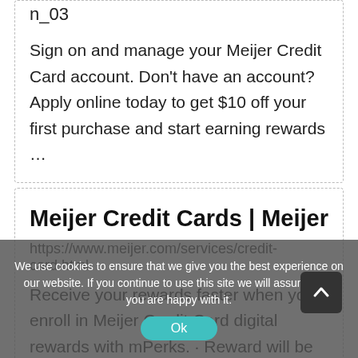n_03
Sign on and manage your Meijer Credit Card account. Don't have an account? Apply online today to get $10 off your first purchase and start earning rewards …
Meijer Credit Cards | Meijer
https://www.meijer.com/services/credit-card.html
Receive your rewards faster when you enroll in Meijer Credit Card digital rewards with mPerks. · Reward will be issued for one-time use only for
We use cookies to ensure that we give you the best experience on our website. If you continue to use this site we will assume that you are happy with it.
Ok